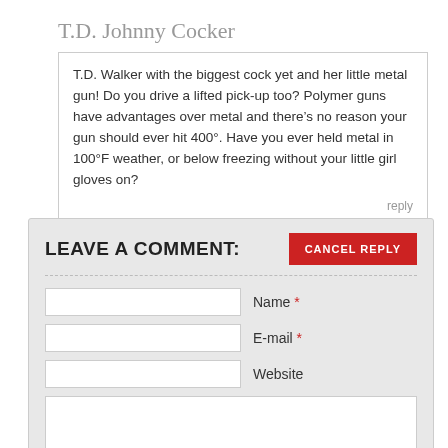T.D. Johnny Cocker
T.D. Walker with the biggest cock yet and her little metal gun! Do you drive a lifted pick-up too? Polymer guns have advantages over metal and there’s no reason your gun should ever hit 400°. Have you ever held metal in 100°F weather, or below freezing without your little girl gloves on?
reply
LEAVE A COMMENT:
CANCEL REPLY
Name *
E-mail *
Website